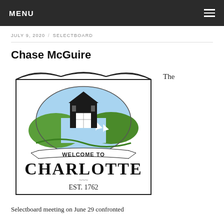MENU
JULY 9, 2020  SELECTBOARD
Chase McGuire
[Figure (logo): Welcome to Charlotte, Est. 1762 town sign logo featuring a covered bridge, green hills, and blue water with sailboats inside an oval, enclosed in a rectangular border with a decorative top curve.]
The
Selectboard meeting on June 29 confronted